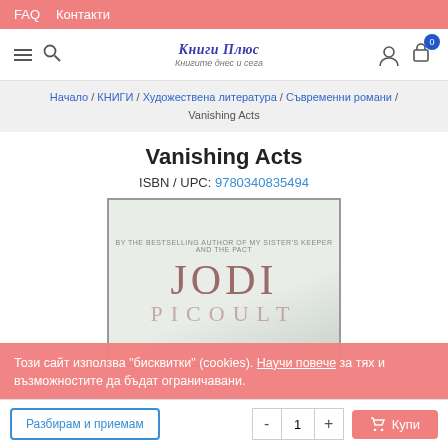FAQ  Контакти
[Figure (logo): Книги Плюс logo with tagline 'Книгите днес и сега']
Начало / КНИГИ / Художествена литература / Съвременни романи / Vanishing Acts
Vanishing Acts
ISBN / UPC: 9780340835494
[Figure (photo): Book cover of Vanishing Acts by Jodi Picoult, showing JODI in large serif letters and PICOULT below, with author tagline at top]
Този сайт използва "бисквитки" (cookies). Научи повече за тях и възможностите да бъдат ограничавани.
Разбирам и приемам   -  1  +  Купи